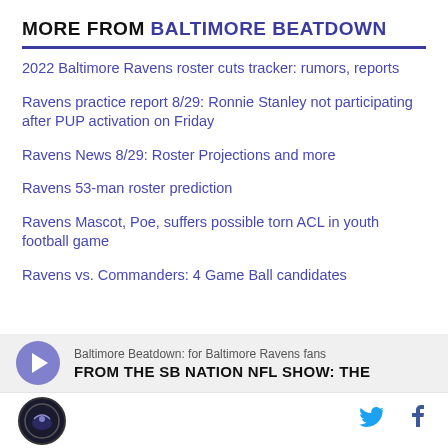MORE FROM BALTIMORE BEATDOWN
2022 Baltimore Ravens roster cuts tracker: rumors, reports
Ravens practice report 8/29: Ronnie Stanley not participating after PUP activation on Friday
Ravens News 8/29: Roster Projections and more
Ravens 53-man roster prediction
Ravens Mascot, Poe, suffers possible torn ACL in youth football game
Ravens vs. Commanders: 4 Game Ball candidates
Baltimore Beatdown: for Baltimore Ravens fans
FROM THE SB NATION NFL SHOW: The
Baltimore Beatdown logo | Twitter | Facebook